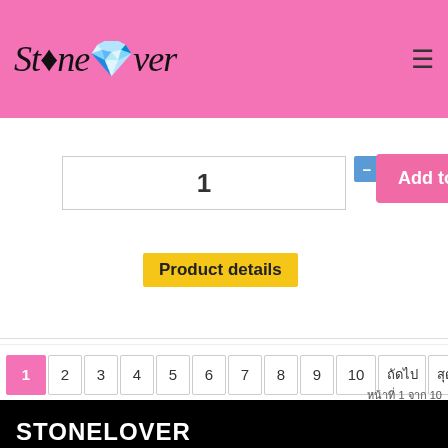StoneLover
1
Add to Cart
Product details
1 2 3 4 5 6 7 8 9 10 ถัดไป สุดท้าย
STONELOVER
ร้านค้าออนไลน์เครื่องประดับ อัญมณี หินสีธรรมชาติ
วัตถุมงคล และ 'หินมงคล' ต่างๆ ราคาปลีก-ส่งทั่วประเทศ
CONTACT
🏠 ที่อยู่ :
ซอยสุขุมวิท ถนนสุขุมวิท แขวง คลอง เขตคลองเตย SC Park (อาคารพาณิชย์)
กรุงเทพฯ10310
📞 หมายเลขโทรศัพท์ :